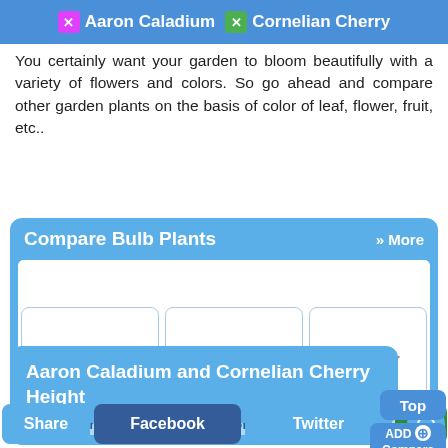Aaron Caladium  Cornelian Cherry
You certainly want your garden to bloom beautifully with a variety of flowers and colors. So go ahead and compare other garden plants on the basis of color of leaf, flower, fruit, etc..
Compare Bulb Plants » More
[Figure (screenshot): Three loading placeholder cards labeled 'Loading...' in a compare widget]
Aaron Caladium and Glory of the Snow
Aar...
Aaron Caladium and Cornelian Cherry Height
Share  Facebook  Twitter  Wh